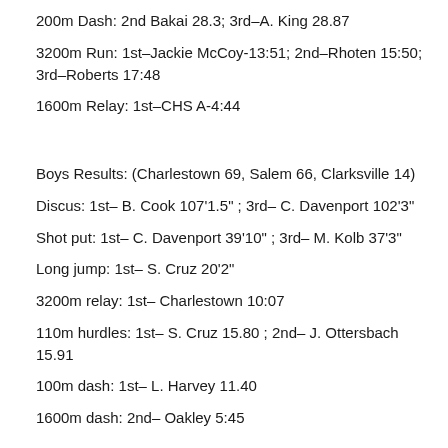200m Dash: 2nd Bakai 28.3; 3rd–A. King 28.87
3200m Run: 1st–Jackie McCoy-13:51; 2nd–Rhoten 15:50; 3rd–Roberts 17:48
1600m Relay: 1st–CHS A-4:44
Boys Results: (Charlestown 69, Salem 66, Clarksville 14)
Discus: 1st– B. Cook 107'1.5" ; 3rd– C. Davenport 102'3"
Shot put: 1st– C. Davenport 39'10" ; 3rd– M. Kolb 37'3"
Long jump: 1st– S. Cruz 20'2"
3200m relay: 1st– Charlestown 10:07
110m hurdles: 1st– S. Cruz 15.80 ; 2nd– J. Ottersbach 15.91
100m dash: 1st– L. Harvey 11.40
1600m dash: 2nd– Oakley 5:45